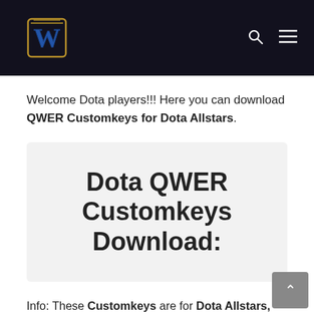WoW logo navigation bar with search and menu icons
Welcome Dota players!!! Here you can download QWER Customkeys for Dota Allstars.
Dota QWER Customkeys Download:
Info: These Customkeys are for Dota Allstars, Dota RGC, Dota Ai and Dota LoD!
If you search for Warcraft 3 Ladder Customkeys